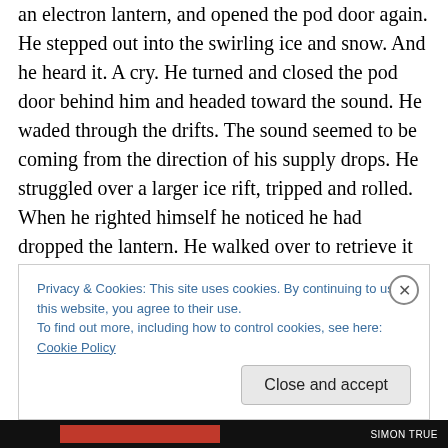an electron lantern, and opened the pod door again. He stepped out into the swirling ice and snow. And he heard it. A cry. He turned and closed the pod door behind him and headed toward the sound. He waded through the drifts. The sound seemed to be coming from the direction of his supply drops. He struggled over a larger ice rift, tripped and rolled. When he righted himself he noticed he had dropped the lantern. He walked over to retrieve it and found it firmly wedged under a rocky ledge. Cursing, he tugged and pulled to no avail. It would be more difficult to get back to the pod without the lantern.
Privacy & Cookies: This site uses cookies. By continuing to use this website, you agree to their use.
To find out more, including how to control cookies, see here: Cookie Policy
Close and accept